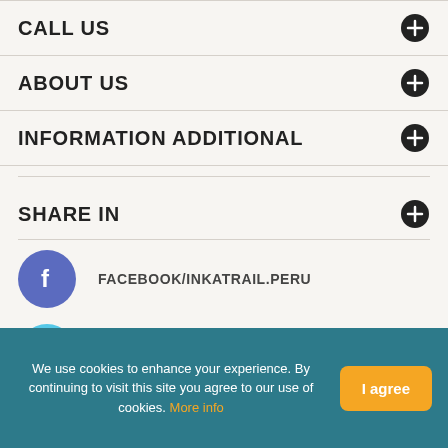CALL US
ABOUT US
INFORMATION ADDITIONAL
SHARE IN
FACEBOOK/INKATRAIL.PERU
TWITTER/INKATRAILPERU
We use cookies to enhance your experience. By continuing to visit this site you agree to our use of cookies. More info